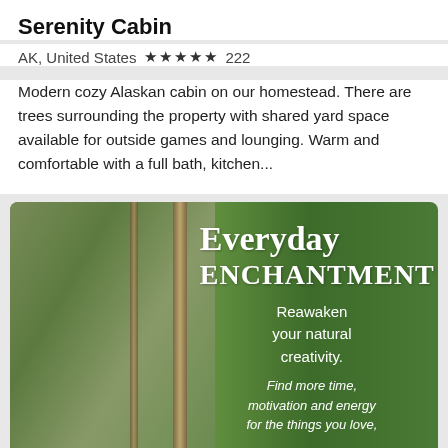Serenity Cabin
AK, United States ★★★★★ 222
Modern cozy Alaskan cabin on our homestead. There are trees surrounding the property with shared yard space available for outside games and lounging. Warm and comfortable with a full bath, kitchen...
[Figure (photo): Promotional image for 'Everyday Enchantment' showing a woman hugging a birch tree in a forest, with white text overlay reading 'Everyday Enchantment – Reawaken your natural creativity. Find more time, motivation and energy for the things you love,']